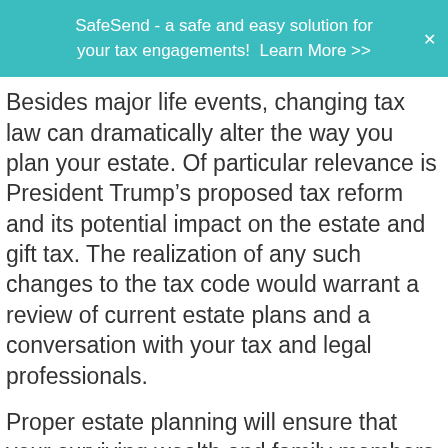SafeSend - a safe and easy solution for your tax engagements! Learn More >>
Besides major life events, changing tax law can dramatically alter the way you plan your estate. Of particular relevance is President Trump’s proposed tax reform and its potential impact on the estate and gift tax. The realization of any such changes to the tax code would warrant a review of current estate plans and a conversation with your tax and legal professionals.
Proper estate planning will ensure that your surviving wealth and family members are properly taken care of at the lowest external cost. Please contact your L&B professional at 858-558-9200 with any questions regarding estate